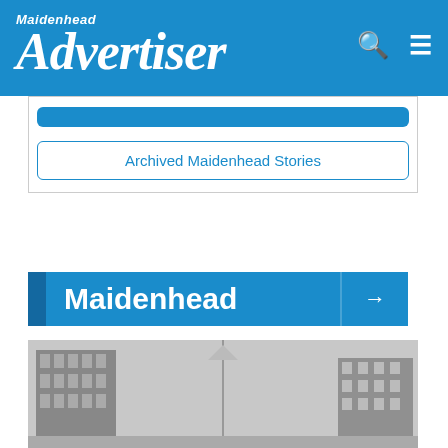Maidenhead Advertiser
Archived Maidenhead Stories
Maidenhead →
[Figure (photo): Grayscale photograph showing buildings and street scene in Maidenhead]